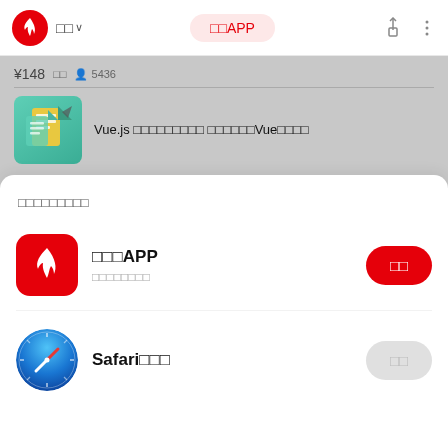□□ ∨    □□APP
¥148  □□  ☻5436
[Figure (screenshot): Course thumbnail with teal background showing book/document icon]
Vue.js □□□□□□□□□ □□□□□□Vue□□□□
□□□□□□□□□
[Figure (logo): Red rounded square app icon with white flame]
□□□APP
□□□□□□□□
□□
[Figure (logo): Safari browser circular icon with blue compass design]
Safari□□□
□□